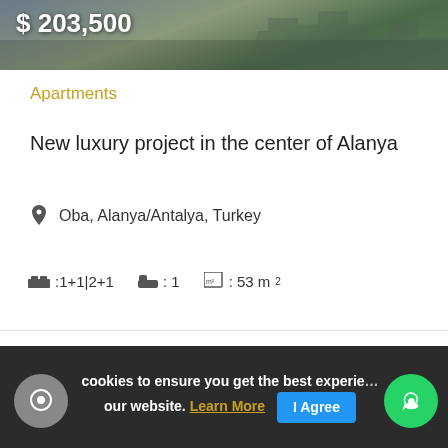[Figure (photo): Property image with price overlay showing $203,500]
$ 203,500
Apartments
New luxury project in the center of Alanya
Oba, Alanya/Antalya, Turkey
🛏:1+1|2+1   🛁: 1   📐: 53 m²
RAED SHAABAN
cookies to ensure you get the best experience our website. Learn More  I Agree